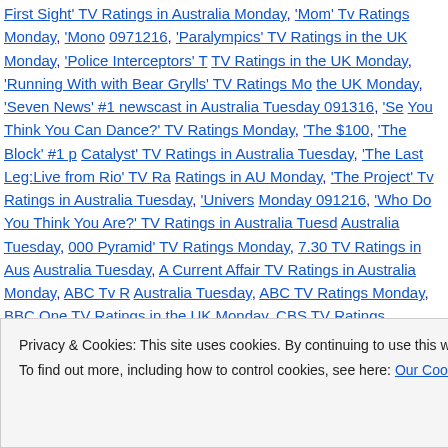First Sight' TV Ratings in Australia Monday, 'Mom' Tv Ratings Monday, 'Mono 0971216, 'Paralympics' TV Ratings in the UK Monday, 'Police Interceptors' TV Ratings in the UK Monday, 'Running With with Bear Grylls' TV Ratings Mo the UK Monday, 'Seven News' #1 newscast in Australia Tuesday 091316, 'Se You Think You Can Dance?' TV Ratings Monday, 'The $100, 'The Block' #1 p Catalyst' TV Ratings in Australia Tuesday, 'The Last Leg:Live from Rio' TV Ra Ratings in AU Monday, 'The Project' Tv Ratings in Australia Tuesday, 'Univers Monday 091216, 'Who Do You Think You Are?' TV Ratings in Australia Tuesd Australia Tuesday, 000 Pyramid' TV Ratings Monday, 7.30 TV Ratings in Aus Australia Tuesday, A Current Affair TV Ratings in Australia Monday, ABC Tv R Australia Tuesday, ABC TV Ratings Monday, BBC One TV Ratings in the UK Monday, CBS TV Ratings Monday, Channel 4 TV Ratings in the UK Monday, CNA|SOPHIS, Coronation Street TV Ratings in the UK Monday, Crimewatch the Stars TV Ratings Monday, EastEnders TV Ratings in the UK Monday, ES Monday, FOX TV Ratings Monday, Home and Away TV Ratings in Australia T ITV TV Ratings in the UK Monday, Lance Hanish, Los Angeles Rams TV Rati find ESPN #1 091316, NBC TV Ratings Monday, NCIS TV Ratings in Australi Nine #1 in Australia Tuesday 091316, Nine TV Ratings in AU Monday, Nine T
Privacy & Cookies: This site uses cookies. By continuing to use this website, you agree to their use.
To find out more, including how to control cookies, see here: Our Cookie Policy